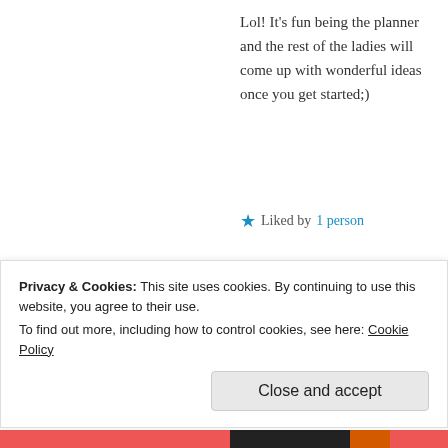Lol! It's fun being the planner and the rest of the ladies will come up with wonderful ideas once you get started;)
★ Liked by 1 person
freebryd
AUGUST 25, 2015 AT 11:30 PM
Privacy & Cookies: This site uses cookies. By continuing to use this website, you agree to their use. To find out more, including how to control cookies, see here: Cookie Policy
Close and accept